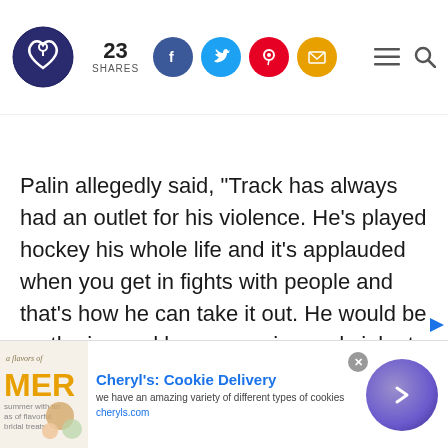23 SHARES [social icons: Facebook, Twitter, Pinterest, Email] [menu icon] [search icon]
Palin allegedly said, "Track has always had an outlet for his violence. He's played hockey his whole life and it's applauded when you get in fights with people and that's how he can take it out. He would be on the ice and be aggressive and violent. People cheered him on for that. When he was an adult and stopping
[Figure (infographic): Advertisement banner for Cheryl's Cookie Delivery with product image, title 'Cheryl's: Cookie Delivery', subtitle 'we have an amazing variety of different types of cookies', URL 'cheryls.com', close button, and purple arrow circle button]